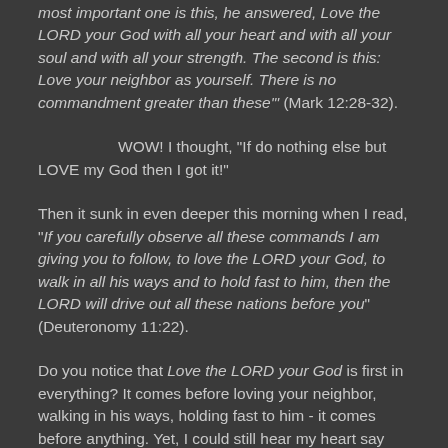most important one is this, he answered, Love the LORD your God with all your heart and with all your soul and with all your strength. The second is this: Love your neighbor as yourself. There is no commandment greater than these'" (Mark 12:28-32).
WOW! I thought, "If do nothing else but LOVE my God then I got it!"
Then it sunk in even deeper this morning when I read, "If you carefully observe all these commands I am giving you to follow, to love the LORD your God, to walk in all his ways and to hold fast to him, then the LORD will drive out all these nations before you" (Deuteronomy 11:22).
Do you notice that Love the LORD your God is first in everything? It comes before loving your neighbor, walking in his ways, holding fast to him - it comes before anything. Yet, I could still hear my heart say instantly, but Lord... but we have to... but... but... but... I can even hear some of you